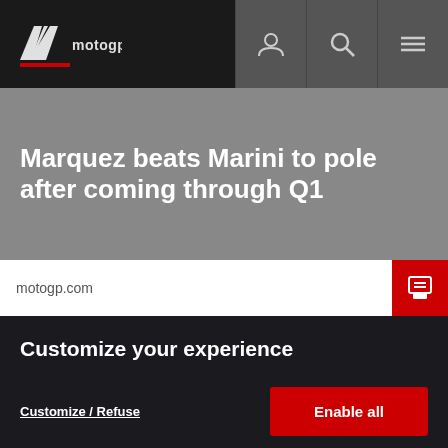MotoGP
Marquez beats Marini to pole after coming through Q1
motogp.com
Customize your experience
Dorna and its suppliers use cookies and similar technologies to measure your interactions with our websites, products and services, and to show you personalized advertising based on a profile made from your browsing habits (for example, pages viewed by you). By clicking "Enable all", you agree to the storing of our cookies on your device for those purposes. By clicking "Customize" you can choose which categories of cookies you prefer to enable or refuse, and you can also choose to refuse them all. You can always check our Cookies Policy for further information. Cookie Policy
Customize / Refuse
Enable all